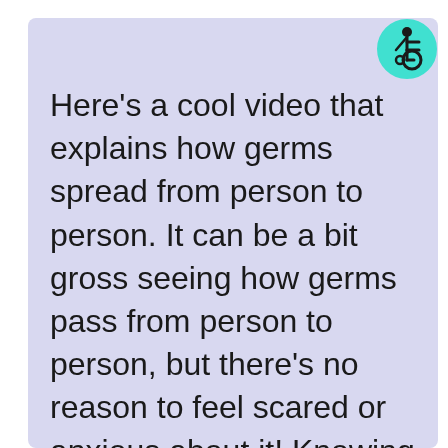[Figure (illustration): Accessibility icon — person in wheelchair symbol inside a teal/cyan circle, positioned in the top-right corner of the content box]
Here’s a cool video that explains how germs spread from person to person.  It can be a bit gross seeing how germs pass from person to person, but there’s no reason to feel scared or anxious about it!  Knowing how germs spread helps us to understand why it SO important we do the things above to keep ourselves and others safe and healthy!